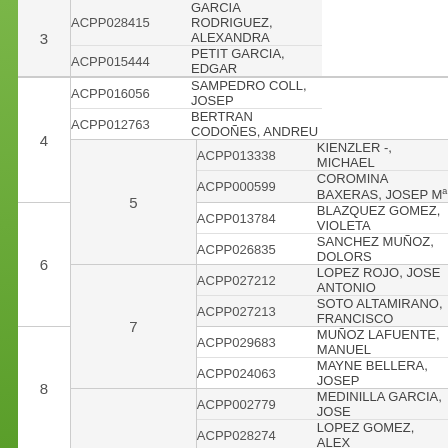| # | Code | Name |
| --- | --- | --- |
| 3 | ACPP028415 | GARCIA RODRIGUEZ, ALEXANDRA |
| 3 | ACPP015444 | PETIT GARCIA, EDGAR |
| 4 | ACPP016056 | SAMPEDRO COLL, JOSEP |
| 4 | ACPP012763 | BERTRAN CODOÑES, ANDREU |
| 5 | ACPP013338 | KIENZLER -, MICHAEL |
| 5 | ACPP000599 | COROMINA BAXERAS, JOSEP Mª |
| 6 | ACPP013784 | BLAZQUEZ GOMEZ, VIOLETA |
| 6 | ACPP026835 | SANCHEZ MUÑOZ, DOLORS |
| 7 | ACPP027212 | LOPEZ ROJO, JOSE ANTONIO |
| 7 | ACPP027213 | SOTO ALTAMIRANO, FRANCISCO |
| 8 | ACPP029683 | MUÑOZ LAFUENTE, MANUEL |
| 8 | ACPP024063 | MAYNE BELLERA, JOSEP |
| 9 | ACPP002779 | MEDINILLA GARCIA, JOSE |
| 9 | ACPP028274 | LOPEZ GOMEZ, ALEX |
| 10 | ACPP019928 | GARRIGA PERIS, DAVID |
| 10 | ACPP002670 | CABALLERO VILANOVA, JOAN CARLES |